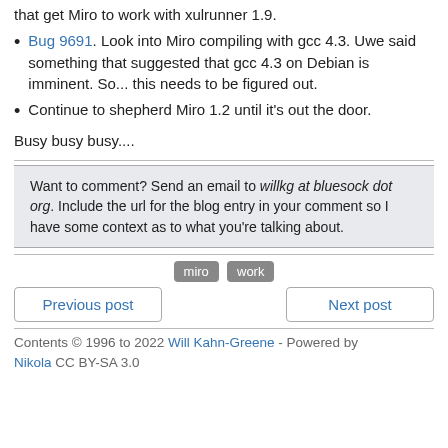that get Miro to work with xulrunner 1.9.
Bug 9691. Look into Miro compiling with gcc 4.3. Uwe said something that suggested that gcc 4.3 on Debian is imminent. So... this needs to be figured out.
Continue to shepherd Miro 1.2 until it's out the door.
Busy busy busy....
Want to comment? Send an email to willkg at bluesock dot org. Include the url for the blog entry in your comment so I have some context as to what you're talking about.
miro work
Previous post
Next post
Contents © 1996 to 2022 Will Kahn-Greene - Powered by Nikola CC BY-SA 3.0